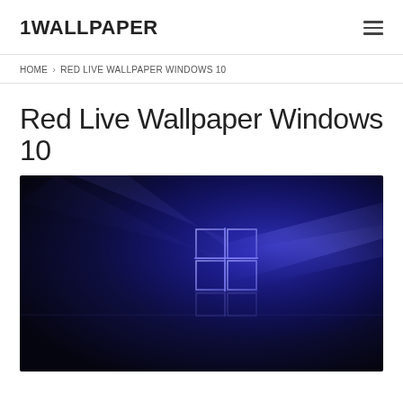1WALLPAPER
HOME > RED LIVE WALLPAPER WINDOWS 10
Red Live Wallpaper Windows 10
[Figure (screenshot): Windows 10 default wallpaper showing the Windows logo in glowing purple/blue light on a dark navy background with reflection effect]